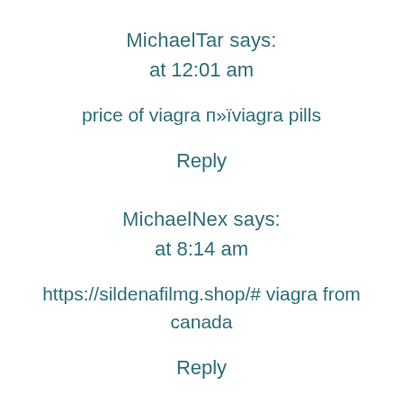MichaelTar says:
at 12:01 am
price of viagra п»їviagra pills
Reply
MichaelNex says:
at 8:14 am
https://sildenafilmg.shop/# viagra from canada
Reply